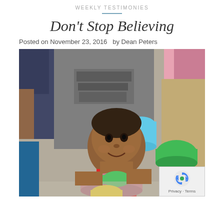WEEKLY TESTIMONIES
Don't Stop Believing
Posted on November 23, 2016   by Dean Peters
[Figure (photo): A young child smiling, holding a pink bowl with a green cup, standing in a line with other children, each holding colorful plastic cups and bowls. The scene appears to be a food distribution event.]
Privacy · Terms